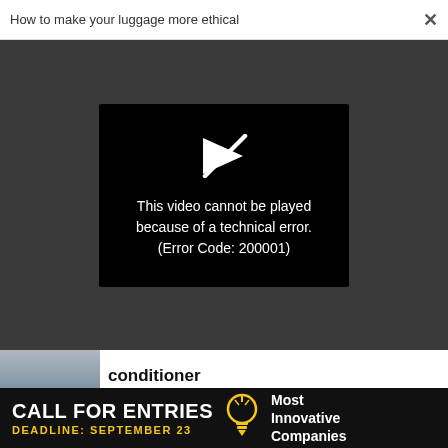How to make your luggage more ethical  ×
[Figure (screenshot): Video player error screen on dark grey background. A black rectangle in the center shows a broken play button icon (play triangle with a diagonal slash through it) and text: 'This video cannot be played because of a technical error. (Error Code: 200001)']
conditioner
CO-DESIGN
One chart illustrates how languages are the same across the globe
[Figure (infographic): Bottom advertisement banner with black background reading 'CALL FOR ENTRIES' in large white bold text, 'DEADLINE: SEPTEMBER 23' in yellow text, a lightbulb icon, and 'Most Innovative Companies' in white text on the right.]